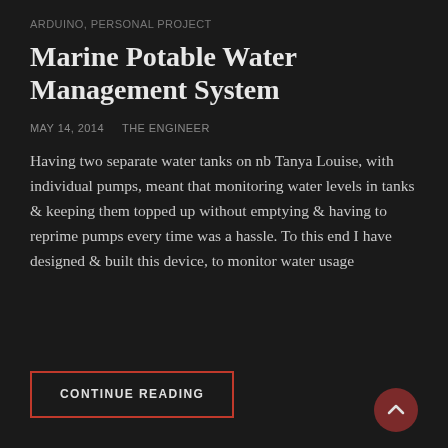ARDUINO, PERSONAL PROJECT
Marine Potable Water Management System
MAY 14, 2014   THE ENGINEER
Having two separate water tanks on nb Tanya Louise, with individual pumps, meant that monitoring water levels in tanks & keeping them topped up without emptying & having to reprime pumps every time was a hassle. To this end I have designed & built this device, to monitor water usage
CONTINUE READING